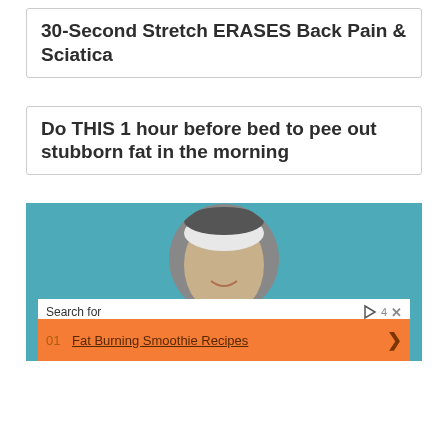30-Second Stretch ERASES Back Pain & Sciatica
Do THIS 1 hour before bed to pee out stubborn fat in the morning
[Figure (screenshot): Teal advertisement section with a black and white photo of a woman smiling wearing a white headband. Below the photo is a search bar reading 'Search for' with play and X icons, and an orange search result row showing '01 Fat Burning Smoothie Recipes' with a right arrow. Below that is partially visible text.]